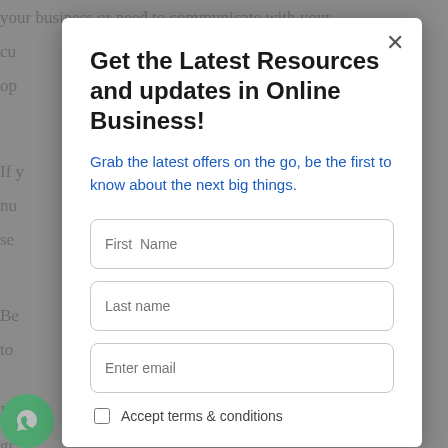your business or need to communicate with your cu
op
If y... e a nu... er se
Be... nt to
Do... o gr
[Figure (screenshot): A modal popup overlay on a website page. The modal contains a title 'Get the Latest Resources and updates in Online Business!', a subtitle in blue 'Grab the latest offers on the go, be the first to know about the next big things.', three input fields (First Name, Last name, Enter email), an 'Accept terms & conditions' checkbox, and a close button (X) in the top right corner.]